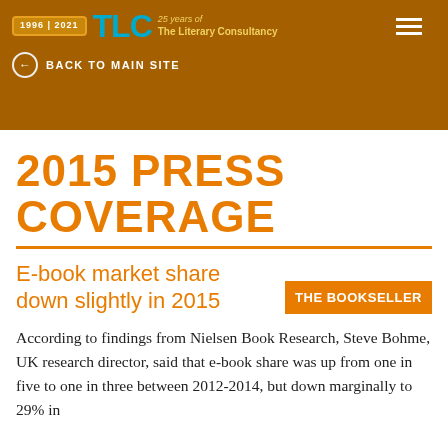[Figure (logo): TLC – The Literary Consultancy logo with '1996|2021, 25 years of The Literary Consultancy' badge on an amber/orange header banner with a hamburger menu icon and 'Back to Main Site' navigation link]
2015 PRESS COVERAGE
E-book market share down slightly in 2015
THE BOOKSELLER
According to findings from Nielsen Book Research, Steve Bohme, UK research director, said that e-book share was up from one in five to one in three between 2012-2014, but down marginally to 29% in